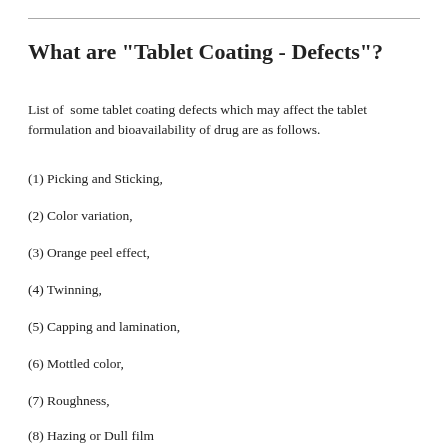What are "Tablet Coating - Defects"?
List of  some tablet coating defects which may affect the tablet formulation and bioavailability of drug are as follows.
(1) Picking and Sticking,
(2) Color variation,
(3) Orange peel effect,
(4) Twinning,
(5) Capping and lamination,
(6) Mottled color,
(7) Roughness,
(8) Hazing or Dull film